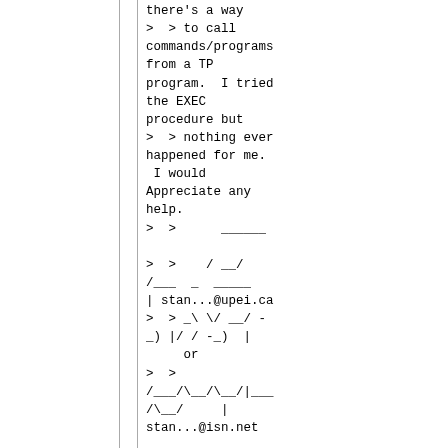there's a way
>  > to call
commands/programs
from a TP
program.  I tried
the EXEC
procedure but
>  > nothing ever
happened for me.
 I would
Appreciate any
help.
>  >      ______

>  >    / __/
/___  _  _____
| stan...@upei.ca
>  > _\ \/ __/ -
_) |/ / -_)  |
      or
>  >
/___/\__/\__/|___
/\__/     |
stan...@isn.net